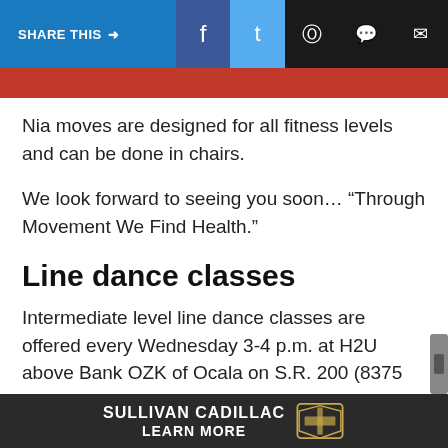SHARE THIS → f (facebook) (twitter) (whatsapp) (chat) (email)
[Figure (other): Red decorative bar]
Nia moves are designed for all fitness levels and can be done in chairs.
We look forward to seeing you soon... “Through Movement We Find Health.”
Line dance classes
Intermediate level line dance classes are offered every Wednesday 3-4 p.m. at H2U above Bank OZK of Ocala on S.R. 200 (8375 SW Highway 200).
Christ’s Church services
Christ’s … join us
[Figure (other): Sullivan Cadillac advertisement banner with text SULLIVAN CADILLAC LEARN MORE and Cadillac logo]